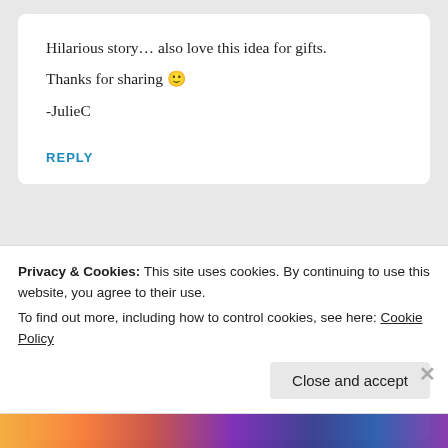Hilarious story… also love this idea for gifts.
Thanks for sharing 🙂
-JulieC
REPLY
domestic diva, MD  December 9, 2012 — 5:16 pm
Privacy & Cookies: This site uses cookies. By continuing to use this website, you agree to their use.
To find out more, including how to control cookies, see here: Cookie Policy
Close and accept